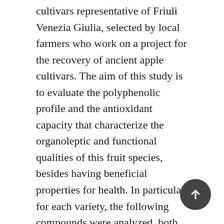cultivars representative of Friuli Venezia Giulia, selected by local farmers who work on a project for the recovery of ancient apple cultivars. The aim of this study is to evaluate the polyphenolic profile and the antioxidant capacity that characterize the organoleptic and functional qualities of this fruit species, besides having beneficial properties for health. In particular, for each variety, the following compounds were analyzed, both in the skins and in the pulp: gallic acid, catechin, chlorogenic acid, epicatechin, caffeic acid, coumaric acid, ferulic acid, rutin, phlorizin, phloretin and quercetin to highlight any differences in the edible parts of the apple. The analysis of individual phenolic compounds was performed by High Performance Liquid Chromatography (HPLC) coupled with a diode array UV detector (DAD), the antioxidant capacity was estimated using an in vitro essay based on a Free Radical...